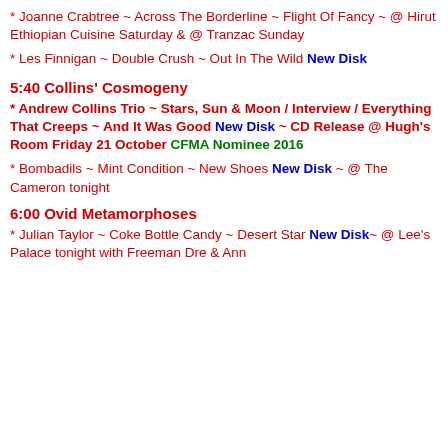* Joanne Crabtree ~ Across The Borderline ~ Flight Of Fancy ~ @ Hirut Ethiopian Cuisine Saturday & @ Tranzac Sunday
* Les Finnigan ~ Double Crush ~ Out In The Wild New Disk
5:40 Collins' Cosmogeny
* Andrew Collins Trio ~ Stars, Sun & Moon / Interview / Everything That Creeps ~ And It Was Good New Disk ~ CD Release @ Hugh's Room Friday 21 October CFMA Nominee 2016
* Bombadils ~ Mint Condition ~ New Shoes New Disk ~ @ The Cameron tonight
6:00 Ovid Metamorphoses
* Julian Taylor ~ Coke Bottle Candy ~ Desert Star New Disk~ @ Lee's Palace tonight with Freeman Dre & Ann